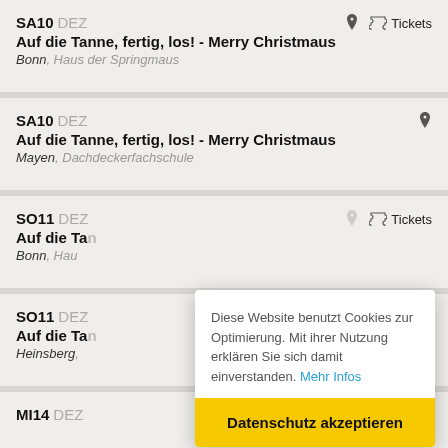SA10 DEZ
Auf die Tanne, fertig, los! - Merry Christmaus
Bonn, Haus der Springmaus
SA10 DEZ
Auf die Tanne, fertig, los! - Merry Christmaus
Mayen, Dachdeckerfachschule
SO11 DEZ
Auf die Ta...
Bonn, Hau...
SO11 DEZ
Auf die Ta...
Heinsberg,...
MI14 DEZ
Diese Website benutzt Cookies zur Optimierung. Mit ihrer Nutzung erklären Sie sich damit einverstanden. Mehr Infos
Datenschutz akzeptieren